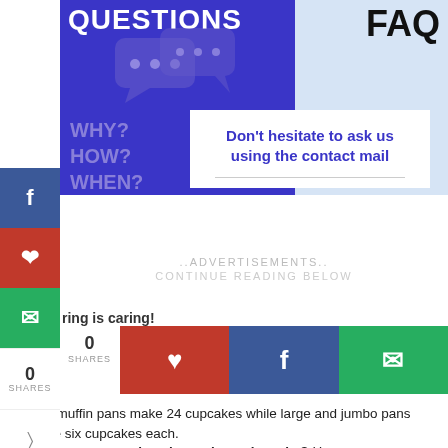[Figure (illustration): FAQ banner graphic with 'QUESTIONS FAQ' heading, chat bubbles on purple background, light blue section on right with FAQ text, and 'WHY? HOW? WHEN?' text overlay]
Don't hesitate to ask us using the contact mail
..ADVERTISEMENTS.. CONTINUE READING BELOW
ring is caring!
0 SHARES
Mini muffin pans make 24 cupcakes while large and jumbo pans make six cupcakes each.
How many cupcakes does a box mix make? How many